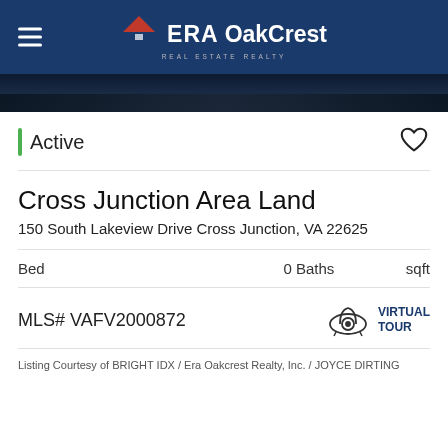ERA OakCrest Realty
[Figure (photo): Dark aerial or landscape photo strip used as decorative banner]
Active
Cross Junction Area Land
150 South Lakeview Drive Cross Junction, VA 22625
| Bed | 0 Baths | sqft |
| --- | --- | --- |
|  |
MLS# VAFV2000872
VIRTUAL TOUR
Listing Courtesy of BRIGHT IDX / Era Oakcrest Realty, Inc. / JOYCE DIRTING